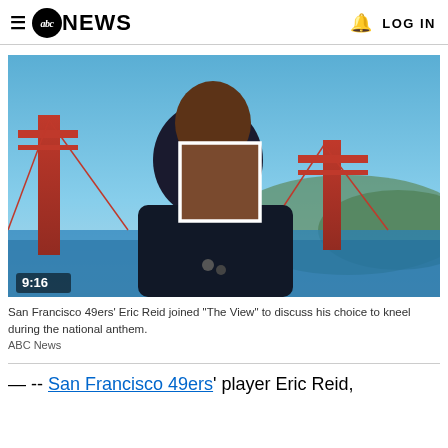≡ abc NEWS  🔔 LOG IN
[Figure (screenshot): Video thumbnail showing a man (Eric Reid) being interviewed in front of the Golden Gate Bridge in San Francisco. A blurred/redacted square covers part of his face. A video timestamp of 9:16 is shown in the lower left.]
San Francisco 49ers' Eric Reid joined "The View" to discuss his choice to kneel during the national anthem.
ABC News
&#151; -- San Francisco 49ers' player Eric Reid,